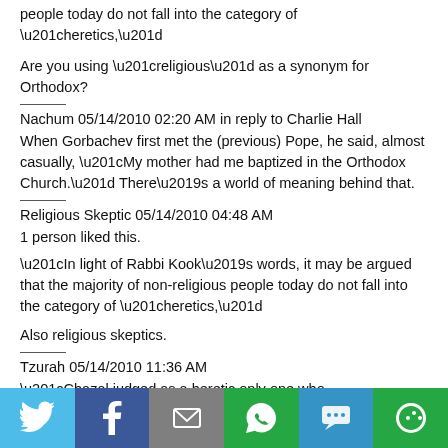people today do not fall into the category of “heretics,”
Are you using “religious” as a synonym for Orthodox?
Nachum 05/14/2010 02:20 AM in reply to Charlie Hall
When Gorbachev first met the (previous) Pope, he said, almost casually, “My mother had me baptized in the Orthodox Church.” There’s a world of meaning behind that.
Religious Skeptic 05/14/2010 04:48 AM
1 person liked this.
“In light of Rabbi Kook’s words, it may be argued that the majority of non-religious people today do not fall into the category of “heretics,”
Also religious skeptics.
Tzurah 05/14/2010 11:36 AM
“Chazal judged as a heretic only one who